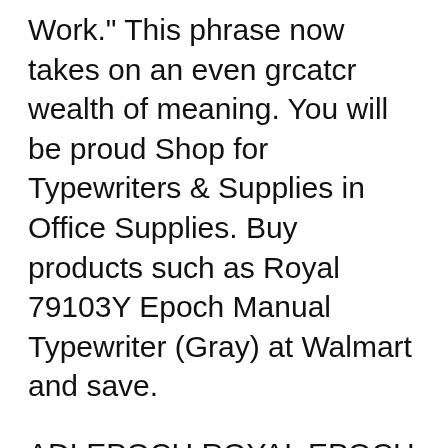Work." This phrase now takes on an even grcatcr wealth of meaning. You will be proud Shop for Typewriters & Supplies in Office Supplies. Buy products such as Royal 79103Y Epoch Manual Typewriter (Gray) at Walmart and save.
ADLEPOCH ROYAL EPOCH MANUAL, PORTABLE TYPEWRITER by Generic. 3.4 out of 5 stars 18. More Buying Choices $197.42 (4 used & new offers) Manual typewriter gray. 2.6 We have over 50 years experiance in the sale and service of vintage typewriters. All the typewriters we sale are in full working order, and have been fully serviced by are own trained engineers.